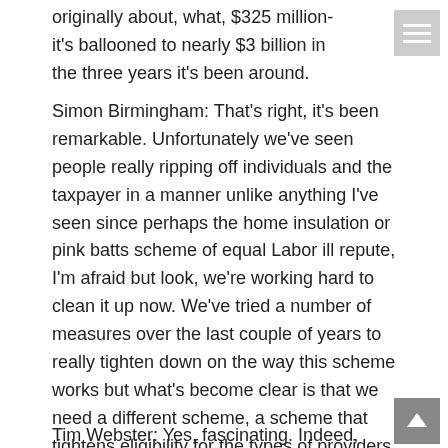originally about, what, $325 million- it's ballooned to nearly $3 billion in the three years it's been around.
Simon Birmingham: That's right, it's been remarkable. Unfortunately we've seen people really ripping off individuals and the taxpayer in a manner unlike anything I've seen since perhaps the home insulation or pink batts scheme of equal Labor ill repute, I'm afraid but look, we're working hard to clean it up now. We've tried a number of measures over the last couple of years to really tighten down on the way this scheme works but what's become clear is that we need a different scheme, a scheme that tightens eligibility for the types of providers who can operate within a scheme that limits the areas of study that can be applied for and a scheme that keeps control on prices. So, that's what we're now designing.
Tim Webster: Yes, fascinating. Indeed, let's...